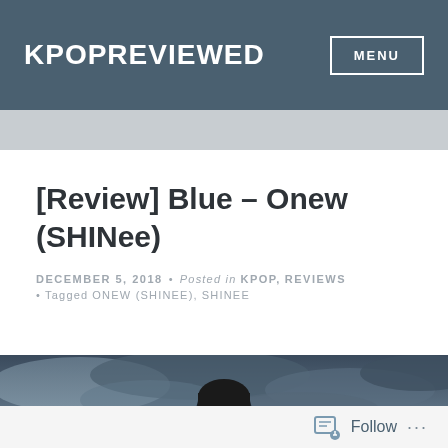KPOPREVIEWED
[Review] Blue – Onew (SHINee)
DECEMBER 5, 2018 • Posted in KPOP, REVIEWS • Tagged ONEW (SHINEE), SHINEE
[Figure (photo): A young man with dark hair in a moody, blue-toned scene with cloudy sky background]
Follow ...